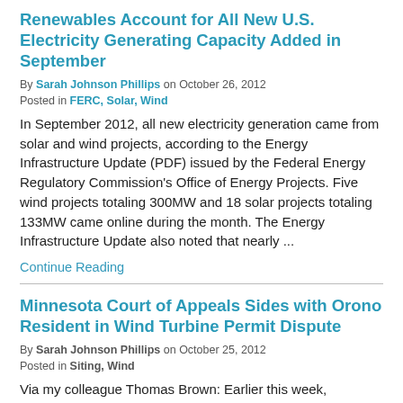Renewables Account for All New U.S. Electricity Generating Capacity Added in September
By Sarah Johnson Phillips on October 26, 2012
Posted in FERC, Solar, Wind
In September 2012, all new electricity generation came from solar and wind projects, according to the Energy Infrastructure Update (PDF) issued by the Federal Energy Regulatory Commission's Office of Energy Projects. Five wind projects totaling 300MW and 18 solar projects totaling 133MW came online during the month. The Energy Infrastructure Update also noted that nearly ...
Continue Reading
Minnesota Court of Appeals Sides with Orono Resident in Wind Turbine Permit Dispute
By Sarah Johnson Phillips on October 25, 2012
Posted in Siting, Wind
Via my colleague Thomas Brown: Earlier this week,